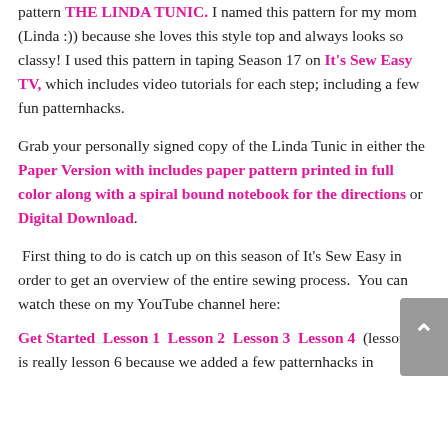pattern THE LINDA TUNIC. I named this pattern for my mom (Linda :)) because she loves this style top and always looks so classy!  I used this pattern in taping Season 17 on It's Sew Easy TV, which includes video tutorials for each step; including a few fun patternhacks.
Grab your personally signed copy of the Linda Tunic in either the Paper Version with includes paper pattern printed in full color along with a spiral bound notebook for the directions or Digital Download.
First thing to do is catch up on this season of It's Sew Easy in order to get an overview of the entire sewing process.  You can watch these on my YouTube channel here:
Get Started  Lesson 1  Lesson 2  Lesson 3  Lesson 4  (lesson 4 is really lesson 6 because we added a few patternhacks in